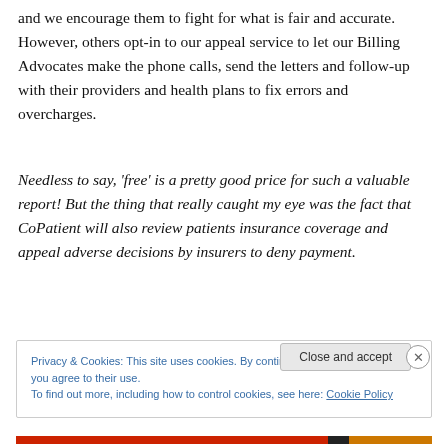and we encourage them to fight for what is fair and accurate. However, others opt-in to our appeal service to let our Billing Advocates make the phone calls, send the letters and follow-up with their providers and health plans to fix errors and overcharges.
Needless to say, 'free' is a pretty good price for such a valuable report! But the thing that really caught my eye was the fact that CoPatient will also review patients insurance coverage and appeal adverse decisions by insurers to deny payment.
Privacy & Cookies: This site uses cookies. By continuing to use this website, you agree to their use.
To find out more, including how to control cookies, see here: Cookie Policy